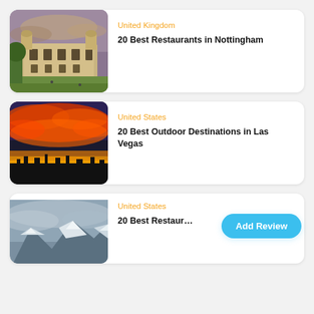[Figure (photo): Historic gothic/baroque stone building with green lawn in front under dramatic sky — Wollaton Hall, Nottingham, UK]
United Kingdom
20 Best Restaurants in Nottingham
[Figure (photo): Dramatic sunset sky with red and orange clouds over a dark city silhouette — Las Vegas, Nevada]
United States
20 Best Outdoor Destinations in Las Vegas
[Figure (photo): Snow-capped mountain range under overcast sky — partial view, third card]
United States
20 Best Restaur…
Add Review